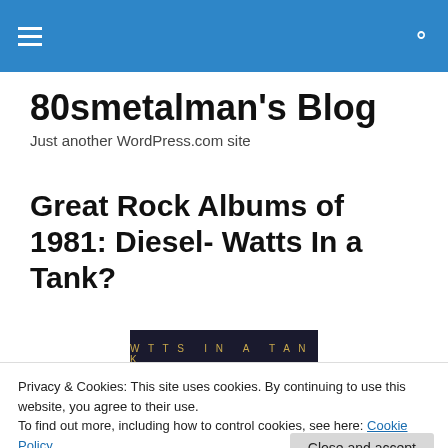80smetalman's Blog — site header with hamburger menu and search icon
80smetalman's Blog
Just another WordPress.com site
Great Rock Albums of 1981: Diesel- Watts In a Tank?
[Figure (photo): Album cover image showing 'Watts In a Tank' text on dark background]
Privacy & Cookies: This site uses cookies. By continuing to use this website, you agree to their use.
To find out more, including how to control cookies, see here: Cookie Policy
Close and accept